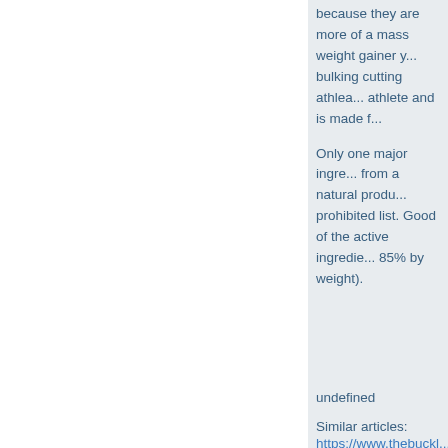because they are more of a mass weight gainer you see bulking cutting athletes. The athlete and is made f...
Only one major ingredient from a natural product on prohibited list. Good of the active ingredient 85% by weight).
undefined
Similar articles: https://www.thebuckl... https://www.egzod.co... https://www.runfreeru... https://www.positived...